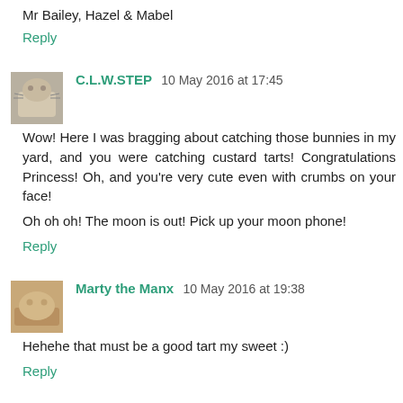Mr Bailey, Hazel & Mabel
Reply
C.L.W.STEP  10 May 2016 at 17:45
Wow! Here I was bragging about catching those bunnies in my yard, and you were catching custard tarts! Congratulations Princess! Oh, and you're very cute even with crumbs on your face!

Oh oh oh! The moon is out! Pick up your moon phone!
Reply
Marty the Manx  10 May 2016 at 19:38
Hehehe that must be a good tart my sweet :)
Reply
Lone Star Cats  10 May 2016 at 19:53